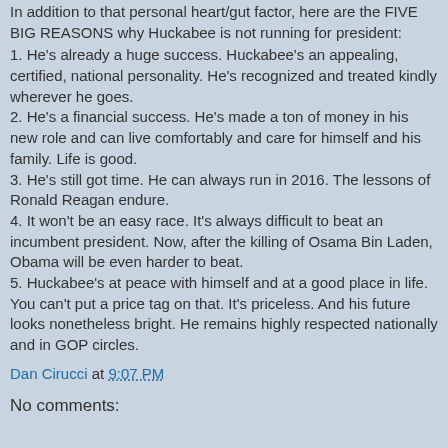In addition to that personal heart/gut factor, here are the FIVE BIG REASONS why Huckabee is not running for president:
1. He's already a huge success. Huckabee's an appealing, certified, national personality. He's recognized and treated kindly wherever he goes.
2. He's a financial success. He's made a ton of money in his new role and can live comfortably and care for himself and his family. Life is good.
3. He's still got time. He can always run in 2016. The lessons of Ronald Reagan endure.
4. It won't be an easy race. It's always difficult to beat an incumbent president. Now, after the killing of Osama Bin Laden, Obama will be even harder to beat.
5. Huckabee's at peace with himself and at a good place in life. You can't put a price tag on that. It's priceless. And his future looks nonetheless bright. He remains highly respected nationally and in GOP circles.
Dan Cirucci at 9:07 PM
No comments: